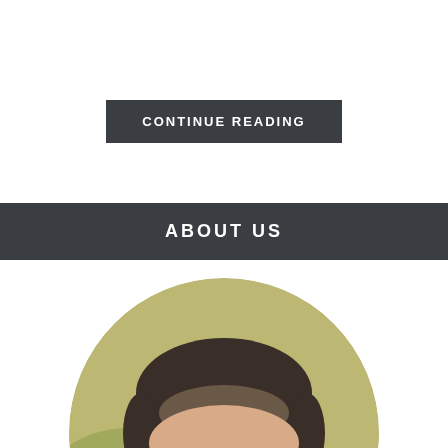CONTINUE READING
ABOUT US
[Figure (photo): Circular cropped photo showing the top portion of a man's face with short dark hair and glasses, set against a blurred green/yellow outdoor background.]
v